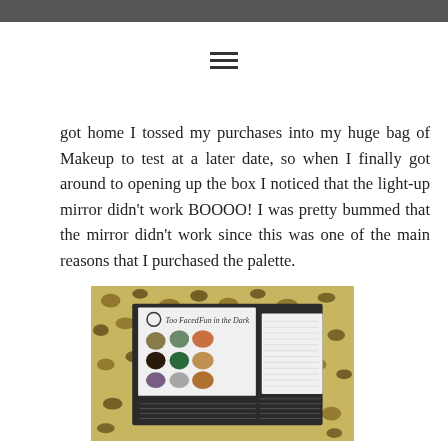got home I tossed my purchases into my huge bag of Makeup to test at a later date, so when I finally got around to opening up the box I noticed that the light-up mirror didn't work BOOOO! I was pretty bummed that the mirror didn't work since this was one of the main reasons that I purchased the palette.
[Figure (photo): Back of a Too Faced 'Fun in the Dark' makeup palette box showing color swatches and product information text, placed on a leopard print background.]